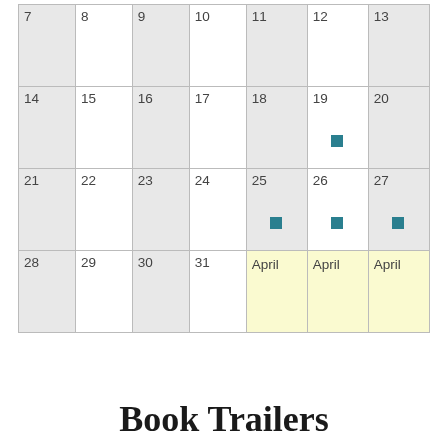| 7 | 8 | 9 | 10 | 11 | 12 | 13 |
| 14 | 15 | 16 | 17 | 18 | 19 [teal] | 20 |
| 21 | 22 | 23 | 24 | 25 [teal] | 26 [teal] | 27 [teal] |
| 28 | 29 | 30 | 31 | April | April | April |
Book Trailers